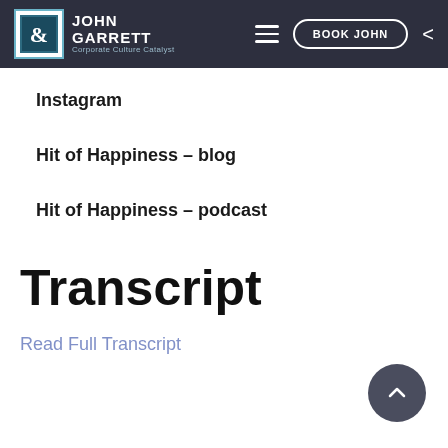John & Garrett Corporate Culture Catalyst — BOOK JOHN
Instagram
Hit of Happiness – blog
Hit of Happiness – podcast
Transcript
Read Full Transcript